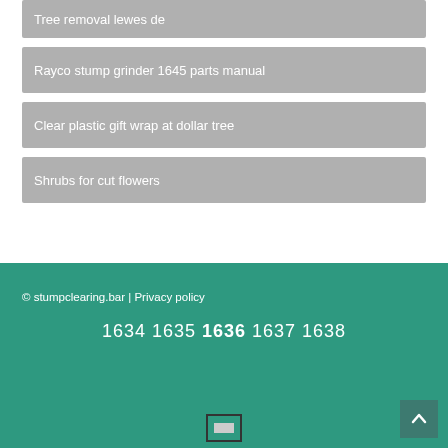Tree removal lewes de
Rayco stump grinder 1645 parts manual
Clear plastic gift wrap at dollar tree
Shrubs for cut flowers
© stumpclearing.bar | Privacy policy
1634 1635 1636 1637 1638